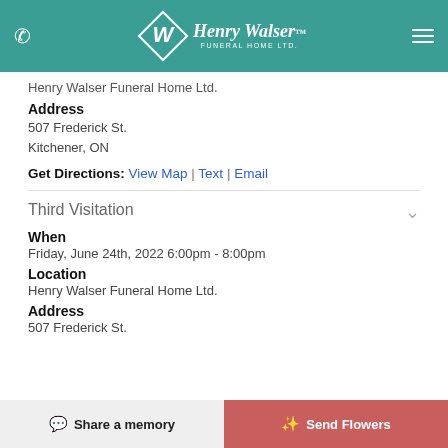Henry Walser Funeral Home Ltd. — header with phone, logo, menu
Henry Walser Funeral Home Ltd.
Address
507 Frederick St.
Kitchener, ON
Get Directions: View Map | Text | Email
Third Visitation
When
Friday, June 24th, 2022 6:00pm - 8:00pm
Location
Henry Walser Funeral Home Ltd.
Address
507 Frederick St.
Share a memory | Send Flowers